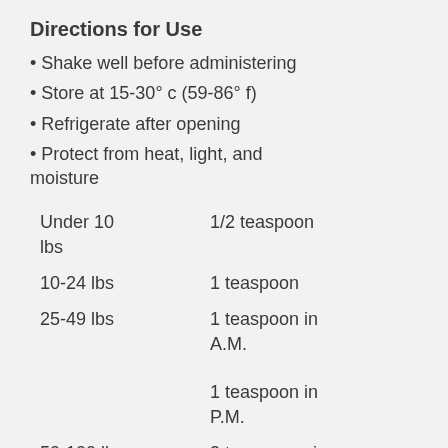Directions for Use
Shake well before administering
Store at 15-30° c (59-86° f)
Refrigerate after opening
Protect from heat, light, and moisture
| Weight | Dose |
| --- | --- |
| Under 10 lbs | 1/2 teaspoon |
| 10-24 lbs | 1 teaspoon |
| 25-49 lbs | 1 teaspoon in A.M.
1 teaspoon in P.M. |
| 50-100 lbs | 2 teaspoons in |